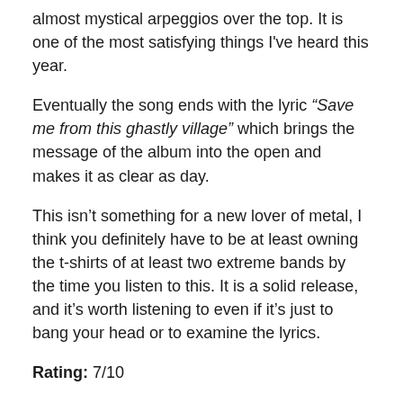almost mystical arpeggios over the top. It is one of the most satisfying things I've heard this year.
Eventually the song ends with the lyric “Save me from this ghastly village” which brings the message of the album into the open and makes it as clear as day.
This isn’t something for a new lover of metal, I think you definitely have to be at least owning the t-shirts of at least two extreme bands by the time you listen to this. It is a solid release, and it’s worth listening to even if it’s just to bang your head or to examine the lyrics.
Rating: 7/10
Words: Jacob McCrone